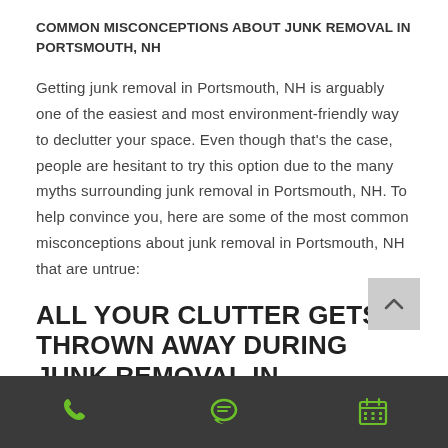COMMON MISCONCEPTIONS ABOUT JUNK REMOVAL IN PORTSMOUTH, NH
Getting junk removal in Portsmouth, NH is arguably one of the easiest and most environment-friendly way to declutter your space. Even though that's the case, people are hesitant to try this option due to the many myths surrounding junk removal in Portsmouth, NH. To help convince you, here are some of the most common misconceptions about junk removal in Portsmouth, NH that are untrue:
ALL YOUR CLUTTER GETS THROWN AWAY DURING JUNK REMOVAL IN PORTSMOUTH, NH
phone | chat | calendar icons